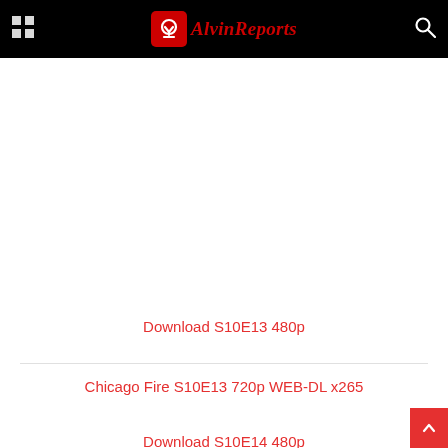AlvinReports
Download S10E13 480p
Chicago Fire S10E13 720p WEB-DL x265
Download S10E14 480p